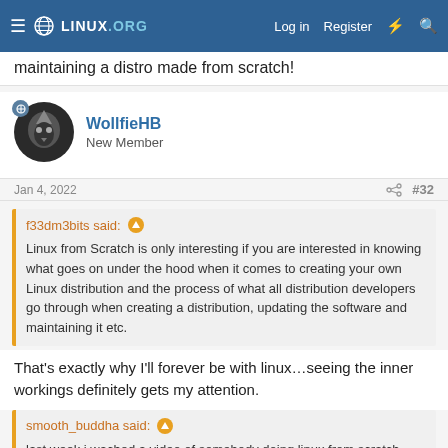LINUX.ORG — Log in   Register
maintaining a distro made from scratch!
WollfieHB
New Member
Jan 4, 2022   #32
f33dm3bits said: ↑

Linux from Scratch is only interesting if you are interested in knowing what goes on under the hood when it comes to creating your own Linux distribution and the process of what all distribution developers go through when creating a distribution, updating the software and maintaining it etc.
That's exactly why I'll forever be with linux…seeing the inner workings definitely gets my attention.
smooth_buddha said: ↑

last week i wached a video of somebody doing linux from scratch